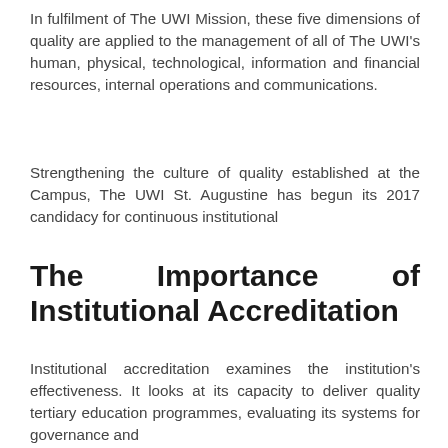In fulfilment of The UWI Mission, these five dimensions of quality are applied to the management of all of The UWI's human, physical, technological, information and financial resources, internal operations and communications.
Strengthening the culture of quality established at the Campus, The UWI St. Augustine has begun its 2017 candidacy for continuous institutional
The Importance of Institutional Accreditation
Institutional accreditation examines the institution's effectiveness. It looks at its capacity to deliver quality tertiary education programmes, evaluating its systems for governance and